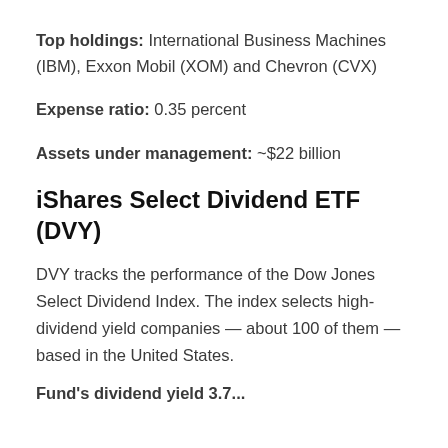Top holdings: International Business Machines (IBM), Exxon Mobil (XOM) and Chevron (CVX)
Expense ratio: 0.35 percent
Assets under management: ~$22 billion
iShares Select Dividend ETF (DVY)
DVY tracks the performance of the Dow Jones Select Dividend Index. The index selects high-dividend yield companies — about 100 of them — based in the United States.
Fund's dividend yield 3.7...